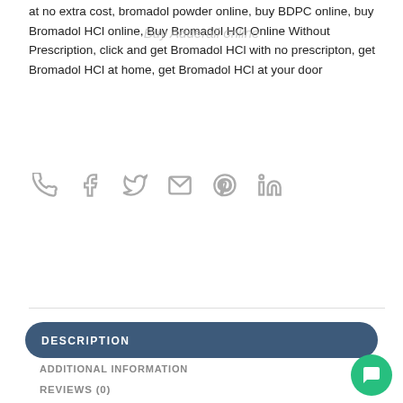at no extra cost, bromadol powder online, buy BDPC online, buy Bromadol HCl online, Buy Bromadol HCl Online Without Prescription, click and get Bromadol HCl with no prescripton, get Bromadol HCl at home, get Bromadol HCl at your door
[Figure (infographic): Row of social/contact share icons: phone, facebook, twitter, email, pinterest, linkedin]
DESCRIPTION
ADDITIONAL INFORMATION
REVIEWS (0)
Buy Bromadol HCl Online
Initial studies estimated that it was around 10 times the strength of morphine.We can offer good